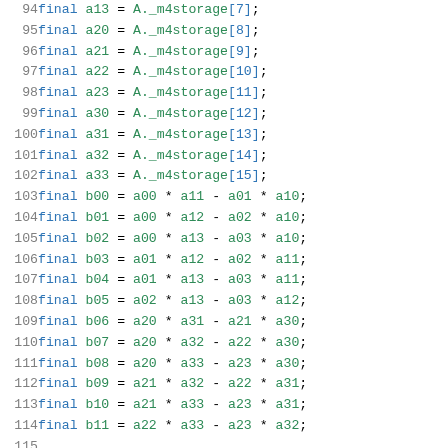Code listing lines 94-115: Dart/C++ source code showing variable assignments from A._m4storage array and computation of cofactor variables b00-b11.